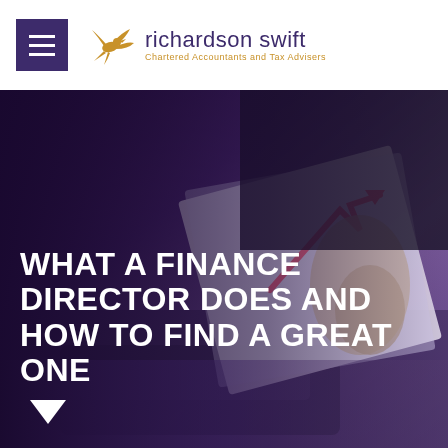[Figure (logo): Richardson Swift Chartered Accountants and Tax Advisers logo with purple menu icon, golden bird/swift illustration, and company name in purple with tagline in gold]
[Figure (photo): Business person in suit holding open notebook/financial document with pink arrow chart visible, calculator on desk, dark purple tinted overlay on left side]
WHAT A FINANCE DIRECTOR DOES AND HOW TO FIND A GREAT ONE